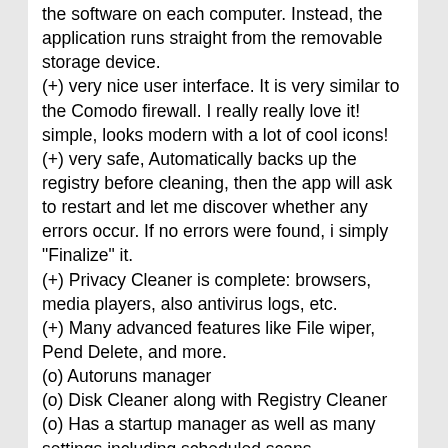the software on each computer. Instead, the application runs straight from the removable storage device.
(+) very nice user interface. It is very similar to the Comodo firewall. I really really love it! simple, looks modern with a lot of cool icons!
(+) very safe, Automatically backs up the registry before cleaning, then the app will ask to restart and let me discover whether any errors occur. If no errors were found, i simply "Finalize" it.
(+) Privacy Cleaner is complete: browsers, media players, also antivirus logs, etc.
(+) Many advanced features like File wiper, Pend Delete, and more.
(o) Autoruns manager
(o) Disk Cleaner along with Registry Cleaner
(o) Has a startup manager as well as many settings including scheduled scans.
(o) option to Uninstall programs
(-) it's heavy (File-size 14-19MB)
Comodo System Cleaner 2.0.107697.4 System Requirements :
Windows Server 2003/XP/Vista/7.0
License: Freeware